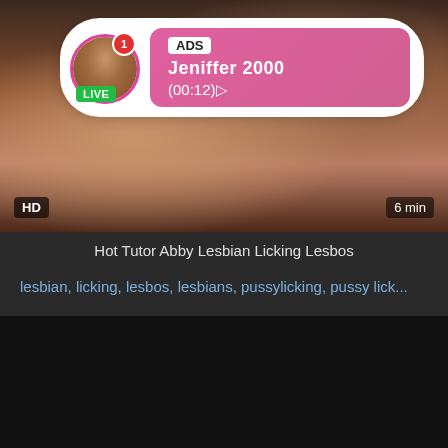[Figure (screenshot): Video thumbnail showing an adult content video with HD badge bottom-left and 6 min duration badge bottom-right. An overlay notification shows an ads popup with a profile avatar circle with LIVE badge, notification badge showing 1, and pink gradient box with ADS label, name Jeniffer 2000, timer (00:12).]
Hot Tutor Abby Lesbian Licking Lesbos
lesbian, licking, lesbos, lesbians, pussylicking, pussy lick...
[Figure (screenshot): Dark/black video player area]